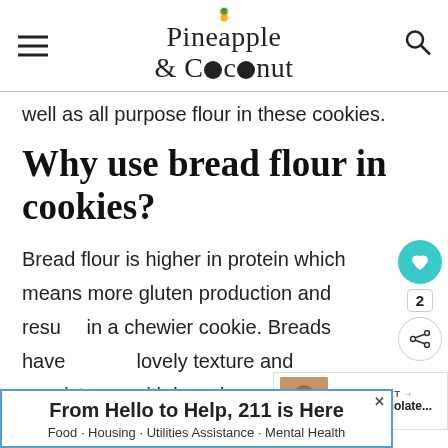Pineapple & Coconut
well as all purpose flour in these cookies.
Why use bread flour in cookies?
Bread flour is higher in protein which means more gluten production and results in a chewier cookie. Breads have lovely texture and consistency with bread
[Figure (other): What's Next promotional widget showing Dark Chocolate... item with thumbnail image]
[Figure (infographic): Advertisement banner: From Hello to Help, 211 is Here. Food · Housing · Utilities Assistance · Mental Health]